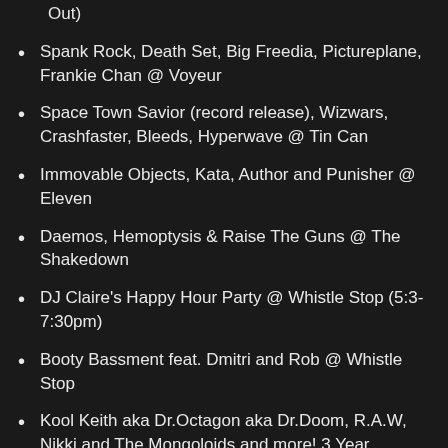Out)
Spank Rock, Death Set, Big Freedia, Pictureplane, Frankie Chan @ Voyeur
Space Town Savior (record release), Wizwars, Crashfaster, Bleeds, Hyperwave @ Tin Can
Immovable Objects, Kata, Author and Punisher @ Eleven
Daemos, Hemoptysis & Raise The Guns @ The Shakedown
DJ Claire's Happy Hour Party @ Whistle Stop (5:3-7:30pm)
Booty Bassment feat. Dmitri and Rob @ Whistle Stop
Kool Keith aka Dr.Octagon aka Dr.Doom, R.A.W, Nikki and The Mongoloids and more! 3 Year Anniversary Party! @ Ruby Room
Englishman meets Lady Cellie and the Band, DJ